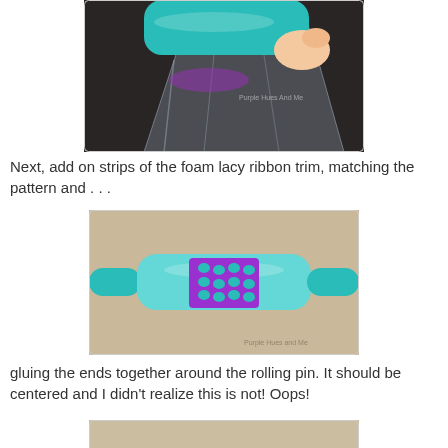[Figure (photo): A hand holding a teal/turquoise rolling pin wrapped in a clear plastic bag with a purple foam lacy ribbon trim visible inside, on a dark background. Watermark reads 'Purple Hues and Me'.]
Next, add on strips of the foam lacy ribbon trim, matching the pattern and . . .
[Figure (photo): A teal/turquoise rolling pin wrapped in clear plastic cellophane, with a purple foam lacy ribbon trim band glued around the center, placed on a brown paper background. Watermark reads 'Purple Hues and Me'.]
gluing the ends together around the rolling pin. It should be centered and I didn't realize this is not! Oops!
[Figure (photo): Partial view of another step photo on a brown paper background (cropped at bottom of page).]